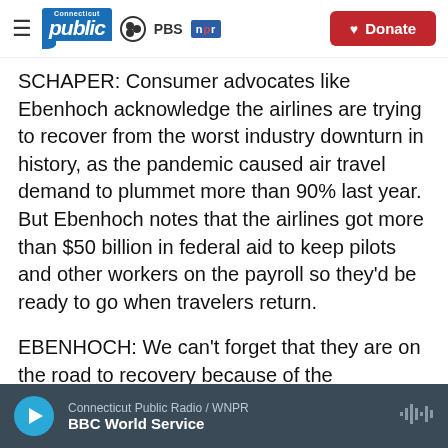Connecticut Public | PBS | NPR | Donate
SCHAPER: Consumer advocates like Ebenhoch acknowledge the airlines are trying to recover from the worst industry downturn in history, as the pandemic caused air travel demand to plummet more than 90% last year. But Ebenhoch notes that the airlines got more than $50 billion in federal aid to keep pilots and other workers on the payroll so they'd be ready to go when travelers return.
EBENHOCH: We can't forget that they are on the road to recovery because of the
Connecticut Public Radio / WNPR — BBC World Service